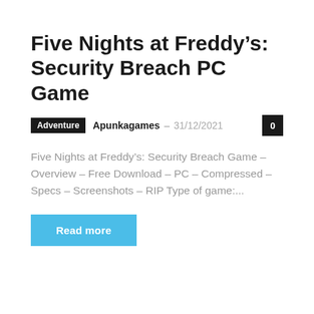Five Nights at Freddy’s: Security Breach PC Game
Adventure  Apunkagames – 31/12/2021  0
Five Nights at Freddy’s: Security Breach Game – Overview – Free Download – PC – Compressed – Specs – Screenshots – RIP Type of game:...
Read more